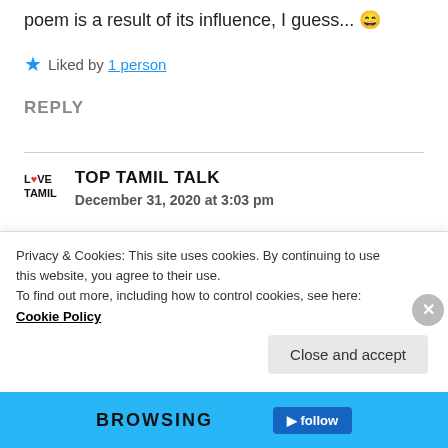poem is a result of its influence, I guess... 😄
★ Liked by 1 person
REPLY
TOP TAMIL TALK
December 31, 2020 at 3:03 pm
I just finished all my 25+ essays for college applications yesterday and just hopped back into
Privacy & Cookies: This site uses cookies. By continuing to use this website, you agree to their use.
To find out more, including how to control cookies, see here: Cookie Policy
Close and accept
BROWSING